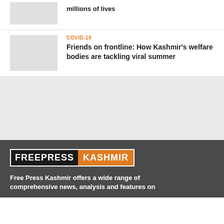[Figure (photo): Thumbnail image placeholder (gray box)]
millions of lives
[Figure (photo): Thumbnail image placeholder (gray box) for COVID-19 article]
COVID-19
Friends on frontline: How Kashmir's welfare bodies are tackling viral summer
[Figure (other): Gray advertising/content band]
[Figure (logo): Free Press Kashmir logo — black FREEPRESS text next to orange KASHMIR text in bordered box]
Free Press Kashmir offers a wide range of comprehensive news, analysis and features on